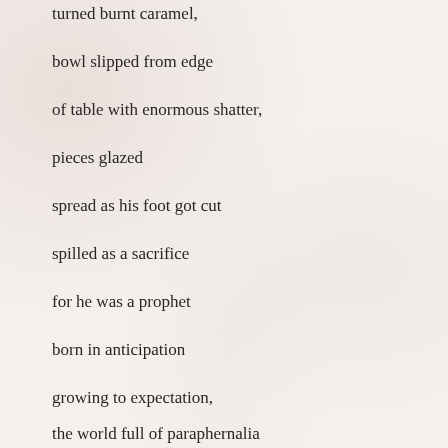turned burnt caramel,
bowl slipped from edge
of table with enormous shatter,
pieces glazed
spread as his foot got cut
spilled as a sacrifice
for he was a prophet
born in anticipation
growing to expectation,
the world full of paraphernalia